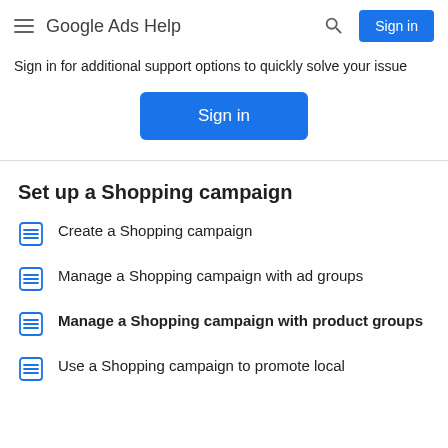Google Ads Help
Sign in for additional support options to quickly solve your issue
[Figure (other): Sign in button (blue rounded rectangle)]
Set up a Shopping campaign
Create a Shopping campaign
Manage a Shopping campaign with ad groups
Manage a Shopping campaign with product groups
Use a Shopping campaign to promote local